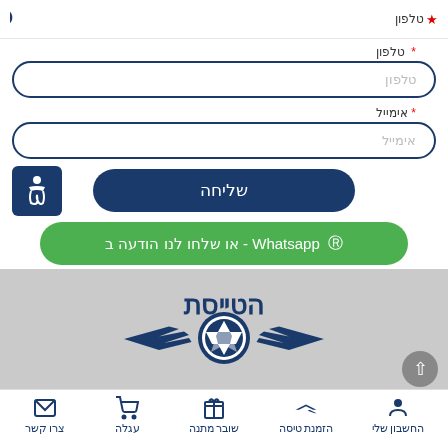כניסה - header bar with logo and phone
טלפון *
טלפון (input placeholder)
אימייל *
אימייל (input placeholder)
שליחה
או שלחו לנו הודעה ב- Whatsapp
[Figure (logo): הטייסת - Israeli aviation logo with Star of David and wings]
החשבון שלי | הזמנת טיסה | שובר מתנה | עגלה | צרו קשר